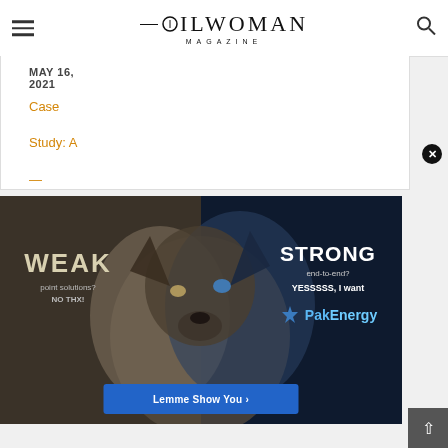OILWOMAN MAGAZINE
MAY 16, 2021
Case Study: A
[Figure (advertisement): PakEnergy advertisement showing a split image of a white dog (weak) and a blue wolf (strong), with text 'WEAK point solutions? NO THX!' on the left and 'STRONG end-to-end? YESSSSS, I want' and PakEnergy logo on the right. A blue 'Lemme Show You >' call-to-action button at the bottom.]